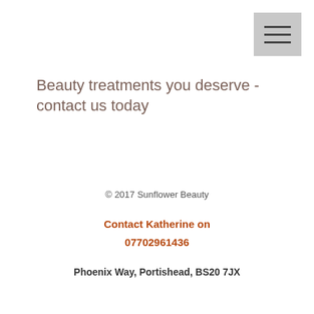[Figure (other): Hamburger menu icon — three horizontal bars on a light grey background, positioned top-right corner]
Beauty treatments you deserve - contact us today
© 2017 Sunflower Beauty
Contact Katherine on 07702961436
Phoenix Way, Portishead, BS20 7JX